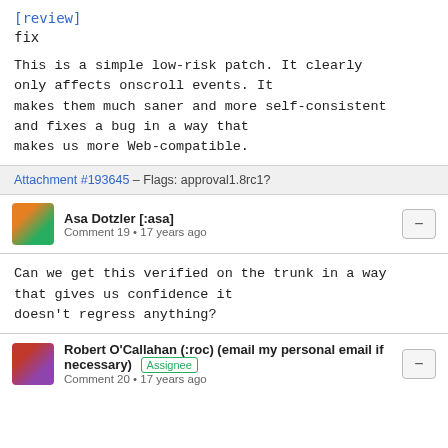[review]
fix
This is a simple low-risk patch. It clearly only affects onscroll events. It makes them much saner and more self-consistent and fixes a bug in a way that makes us more Web-compatible.
Attachment #193645 - Flags: approval1.8rc1?
Asa Dotzler [:asa]
Comment 19 • 17 years ago
Can we get this verified on the trunk in a way that gives us confidence it doesn't regress anything?
Robert O'Callahan (:roc) (email my personal email if necessary) Assignee
Comment 20 • 17 years ago